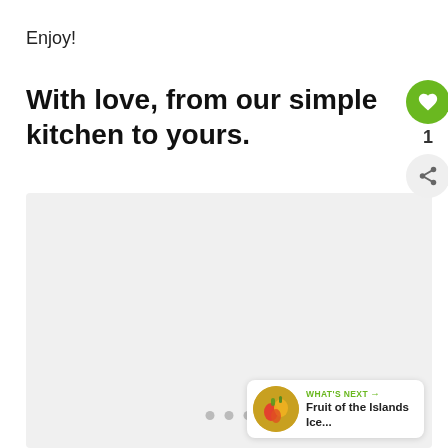Enjoy!
With love, from our simple kitchen to yours.
[Figure (photo): Large light grey image area (photo placeholder) with interactive UI overlay: a green heart/like button, count showing '1', a share button, pagination dots, and a 'What's Next' panel showing 'Fruit of the Islands Ice...' with a thumbnail of tropical fruits.]